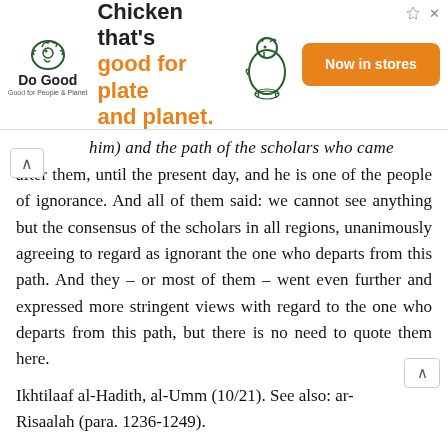[Figure (other): Advertisement banner for 'Do Good' chicken brand with tagline 'Chicken that's good for plate and planet.' and an orange button reading 'Now in stores']
him) and the path of the scholars who came after them, until the present day, and he is one of the people of ignorance. And all of them said: we cannot see anything but the consensus of the scholars in all regions, unanimously agreeing to regard as ignorant the one who departs from this path. And they – or most of them – went even further and expressed more stringent views with regard to the one who departs from this path, but there is no need to quote them here.
Ikhtilaaf al-Hadith, al-Umm (10/21). See also: ar-Risaalah (para. 1236-1249).
The first thing that the person who is introduced with hadith